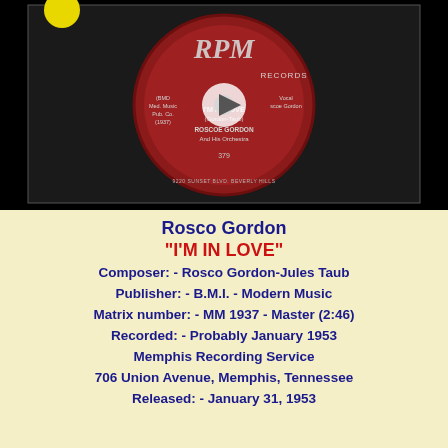[Figure (photo): Black background with a red RPM Records vinyl 45 rpm record label showing 'I'M IN LOVE (Gordon-Taub), ROSCOE GORDON And His Orchestra, 379'. A circular play button overlay is visible in the center. A small yellow circle is visible at top-left corner.]
Rosco Gordon
"I'M IN LOVE"
Composer: - Rosco Gordon-Jules Taub
Publisher: - B.M.I. - Modern Music
Matrix number: - MM 1937 - Master (2:46)
Recorded: - Probably January 1953
Memphis Recording Service
706 Union Avenue, Memphis, Tennessee
Released: - January 31, 1953